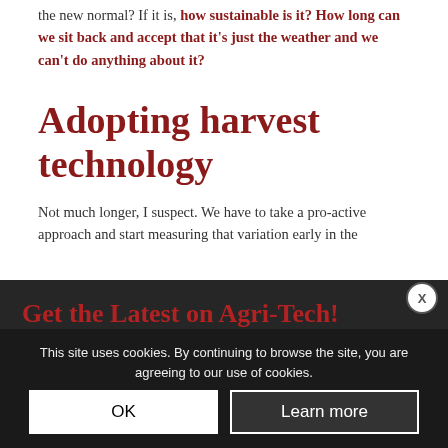the new normal? If it is, how sustainable is it? How long can we sit back and accept that it's just the weather and we can't do anything about it?
Adopting harvest technology
Not much longer, I suspect. We have to take a pro-active approach and start measuring that variation early in the
Get the Latest on Agri-Tech!
Interested in staying up to date with the latest in agricultural technology? Subscribe to our Agri EPI newsletter!
Email Address *
E.g. johnS... Subscribe
This site uses cookies. By continuing to browse the site, you are agreeing to our use of cookies.
OK
Learn more